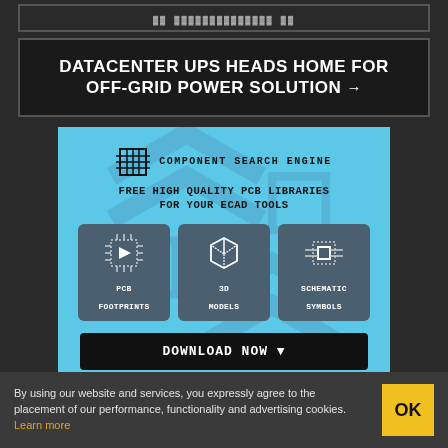▓▓▓▓▓▓▓▓▓▓▓▓▓▓▓▓▓
DATACENTER UPS HEADS HOME FOR OFF-GRID POWER SOLUTION →
[Figure (infographic): Component Search Engine advertisement. Logo with grid icon, text: FREE HIGH QUALITY PCB LIBRARIES FOR YOUR ECAD TOOLS. Three cards: PCB FOOTPRINTS (chip/play icon), 3D MODELS (cube icon), SCHEMATIC SYMBOLS (IC symbol icon). Download Now button.]
By using our website and services, you expressly agree to the placement of our performance, functionality and advertising cookies. Learn more